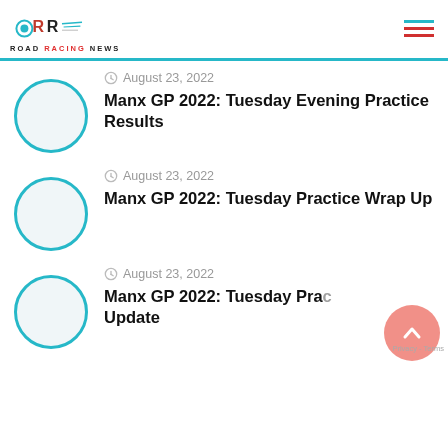Road Racing News
August 23, 2022
Manx GP 2022: Tuesday Evening Practice Results
August 23, 2022
Manx GP 2022: Tuesday Practice Wrap Up
August 23, 2022
Manx GP 2022: Tuesday Practice Update